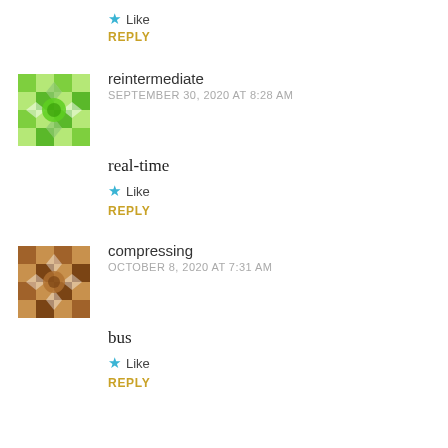Like
REPLY
[Figure (illustration): Green geometric mosaic avatar for user reintermediate]
reintermediate
SEPTEMBER 30, 2020 AT 8:28 AM
real-time
Like
REPLY
[Figure (illustration): Brown geometric mosaic avatar for user compressing]
compressing
OCTOBER 8, 2020 AT 7:31 AM
bus
Like
REPLY